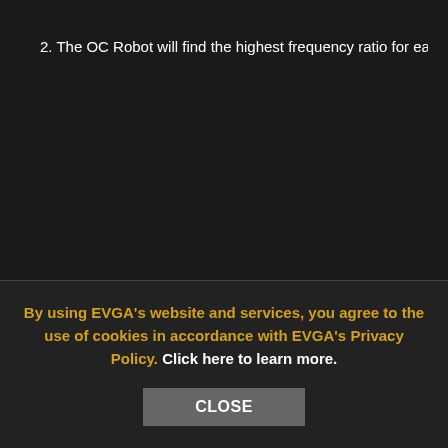2. The OC Robot will find the highest frequency ratio for each CPU c…
By using EVGA's website and services, you agree to the use of cookies in accordance with EVGA's Privacy Policy. Click here to learn more.